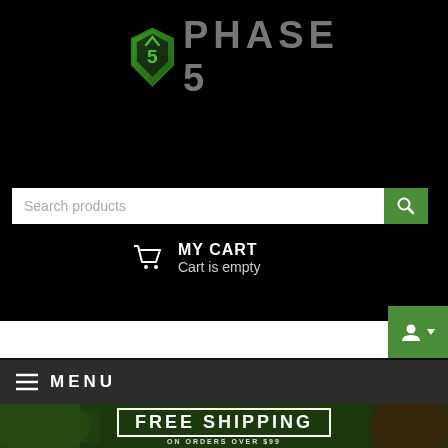[Figure (logo): Phase 5 logo with green shield icon and gray PHASE 5 text on black background]
Search products
MY CART
Cart is empty
[Figure (screenshot): Green account/user button with dropdown arrow on black background]
≡ MENU
[Figure (infographic): FREE SHIPPING ON ORDERS OVER $99 banner on green camouflage background with footnote: *SOME RESTRICTIONS MAY APPLY. RETAIL ORDERS ONLY. CLICK BANNER FOR DETAILS]
Home / Blog